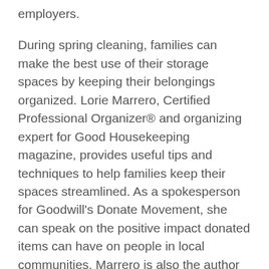employers.
During spring cleaning, families can make the best use of their storage spaces by keeping their belongings organized. Lorie Marrero, Certified Professional Organizer® and organizing expert for Good Housekeeping magazine, provides useful tips and techniques to help families keep their spaces streamlined. As a spokesperson for Goodwill's Donate Movement, she can speak on the positive impact donated items can have on people in local communities. Marrero is also the author of The Clutter Diet: The Skinny on Organizing Your Home and Taking Control of Your Life, and creator of the ClutterDiet.com, an online program that helps people stay organized.
“When your spring cleaning ends with a donation to Goodwill, people looking for employment right here in town will benefit from our community”